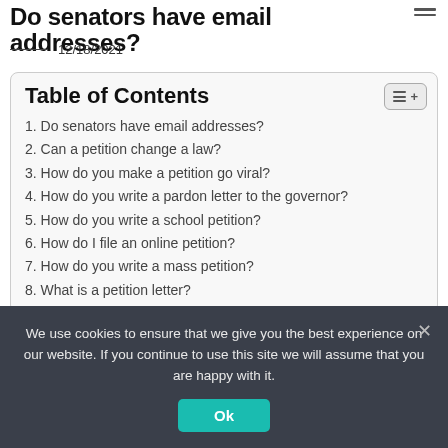Do senators have email addresses?
12/18/2021
Table of Contents
1. Do senators have email addresses?
2. Can a petition change a law?
3. How do you make a petition go viral?
4. How do you write a pardon letter to the governor?
5. How do you write a school petition?
6. How do I file an online petition?
7. How do you write a mass petition?
8. What is a petition letter?
We use cookies to ensure that we give you the best experience on our website. If you continue to use this site we will assume that you are happy with it.